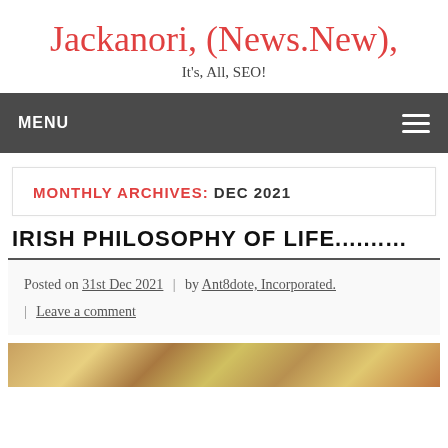Jackanori, (News.New),
It's, All, SEO!
MENU
MONTHLY ARCHIVES: DEC 2021
IRISH PHILOSOPHY OF LIFE.........
Posted on 31st Dec 2021 | by Ant8dote, Incorporated. | Leave a comment
[Figure (photo): Partial thumbnail strip at bottom of page showing colorful decorative image]